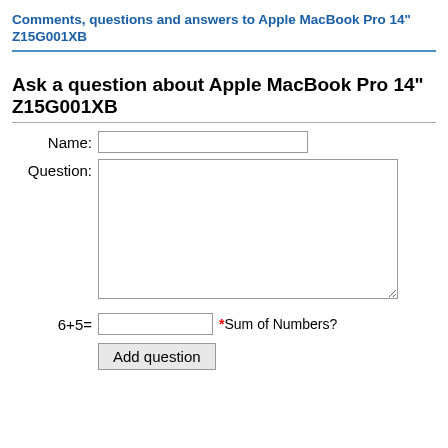Comments, questions and answers to Apple MacBook Pro 14" Z15G001XB
Ask a question about Apple MacBook Pro 14" Z15G001XB
Name: [text input field]
Question: [textarea field]
6+5= [text input] *Sum of Numbers?
Add question [button]